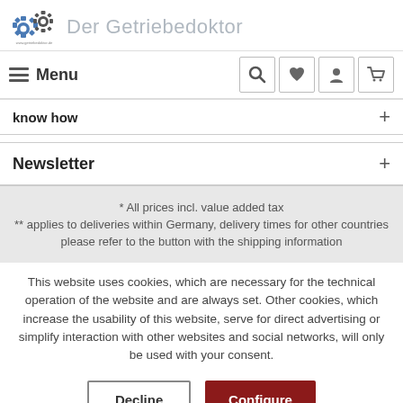Der Getriebedoktor
know how +
Newsletter +
* All prices incl. value added tax
** applies to deliveries within Germany, delivery times for other countries please refer to the button with the shipping information
This website uses cookies, which are necessary for the technical operation of the website and are always set. Other cookies, which increase the usability of this website, serve for direct advertising or simplify interaction with other websites and social networks, will only be used with your consent.
Decline  Configure